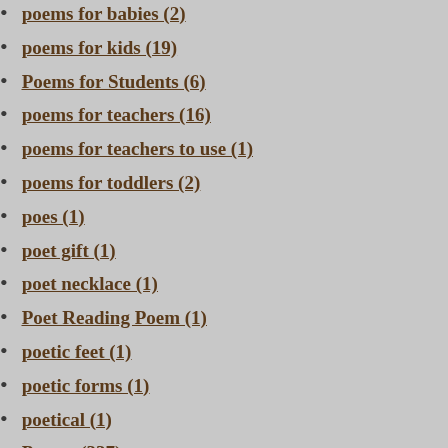poems for babies (2)
poems for kids (19)
Poems for Students (6)
poems for teachers (16)
poems for teachers to use (1)
poems for toddlers (2)
poes (1)
poet gift (1)
poet necklace (1)
Poet Reading Poem (1)
poetic feet (1)
poetic forms (1)
poetical (1)
Poetry (337)
poetry art (1)
Poetry by the Sea (1)